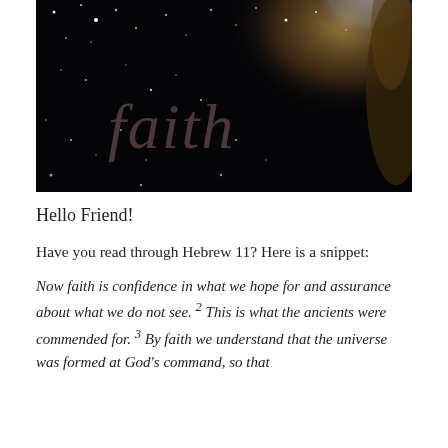[Figure (photo): A deep space nebula photograph showing stars, cosmic dust clouds in orange and gold, and bright star clusters against a black background, with the word 'faith' overlaid in a semi-transparent italic cursive script]
Hello Friend!
Have you read through Hebrew 11? Here is a snippet:
Now faith is confidence in what we hope for and assurance about what we do not see. 2 This is what the ancients were commended for. 3 By faith we understand that the universe was formed at God's command, so that